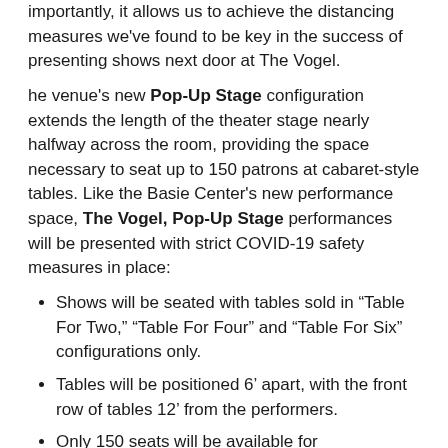importantly, it allows us to achieve the distancing measures we've found to be key in the success of presenting shows next door at The Vogel.
he venue's new Pop-Up Stage configuration extends the length of the theater stage nearly halfway across the room, providing the space necessary to seat up to 150 patrons at cabaret-style tables. Like the Basie Center's new performance space, The Vogel, Pop-Up Stage performances will be presented with strict COVID-19 safety measures in place:
Shows will be seated with tables sold in “Table For Two,” “Table For Four” and “Table For Six” configurations only.
Tables will be positioned 6’ apart, with the front row of tables 12’ from the performers.
Only 150 seats will be available for performances at this time.
Drinks and concessions will be sold table-side; i.e.: no lining up at bars.